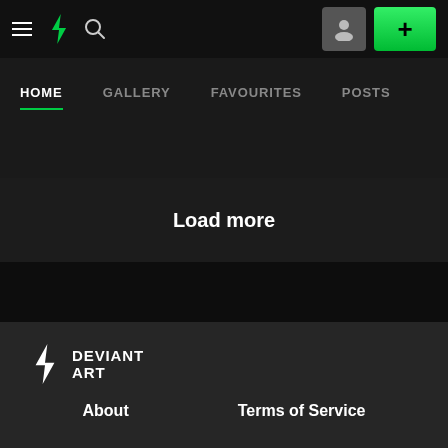DeviantArt navigation bar with hamburger menu, DA logo, search icon, profile button, and add (+) button
HOME | GALLERY | FAVOURITES | POSTS
Load more
[Figure (logo): DeviantArt logo with lightning bolt icon and DEVIANT ART text in white]
About  Terms of Service